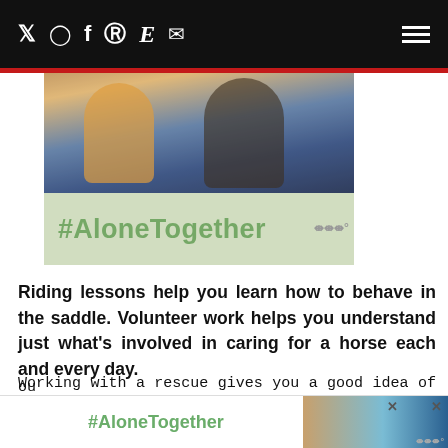Twitter Instagram Facebook Pinterest Etsy Email | Menu
[Figure (photo): Photo of two people sitting together, partially cropped at top, with an #AloneTogether green banner overlay below]
Riding lessons help you learn how to behave in the saddle. Volunteer work helps you understand just what’s involved in caring for a horse each and every day.
Working with a rescue gives you a good idea of exactly what can go wrong and what’s needed to remedy problems caused by poor care and ou
[Figure (screenshot): Bottom ad bar showing #AloneTogether text and a photo of a man and child waving]